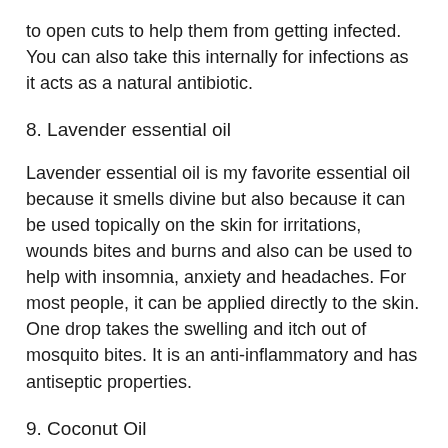to open cuts to help them from getting infected. You can also take this internally for infections as it acts as a natural antibiotic.
8. Lavender essential oil
Lavender essential oil is my favorite essential oil because it smells divine but also because it can be used topically on the skin for irritations, wounds bites and burns and also can be used to help with insomnia, anxiety and headaches. For most people, it can be applied directly to the skin. One drop takes the swelling and itch out of mosquito bites. It is an anti-inflammatory and has antiseptic properties.
9. Coconut Oil
Coconut oil is a great natural moisturizer. This stuff can be